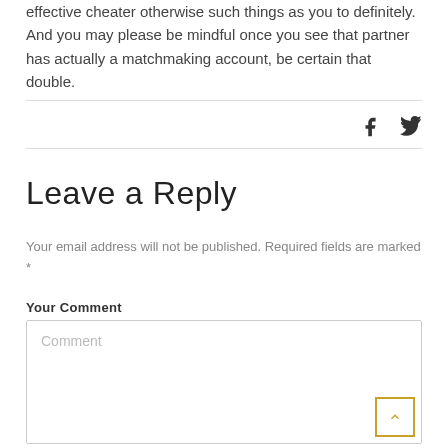effective cheater otherwise such things as you to definitely. And you may please be mindful once you see that partner has actually a matchmaking account, be certain that double.
[Figure (other): Social sharing icons: Facebook (f) and Twitter (bird) icons]
Leave a Reply
Your email address will not be published. Required fields are marked *
Your Comment
[Figure (other): Comment text area input box with placeholder text 'Comment' and a scroll-to-top button in the bottom right corner]